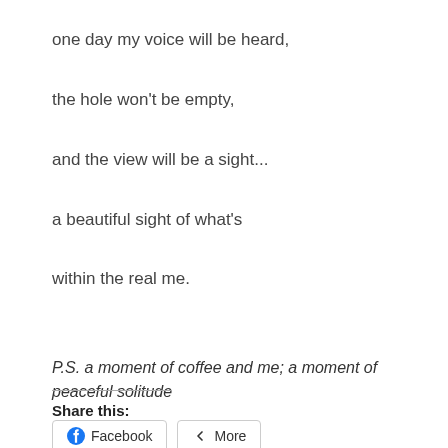one day my voice will be heard,
the hole won't be empty,
and the view will be a sight...
a beautiful sight of what's
within the real me.
P.S. a moment of coffee and me; a moment of peaceful solitude
Share this:
Facebook
More